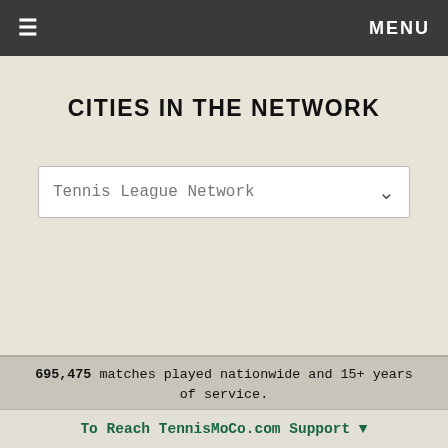≡  MENU
CITIES IN THE NETWORK
Tennis League Network
695,475 matches played nationwide and 15+ years of service. We have donated a combined $20,000 to Cancer Research Institute , Dana Farber and Boston Food Pantry in the past 8 years.
Copyright @ 2005 - 2022 Tennis League Network,
To Reach TennisMoCo.com Support ▼